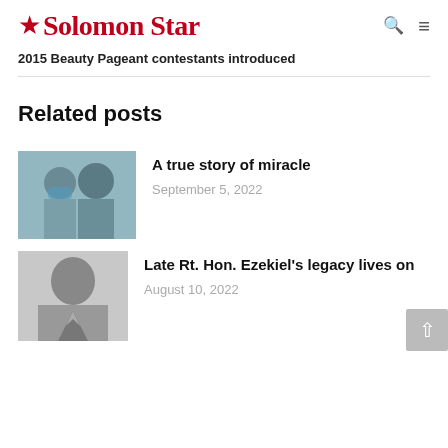Solomon Star
2015 Beauty Pageant contestants introduced
Related posts
[Figure (photo): Color photo of two men, one wearing a face mask, posing together indoors]
A true story of miracle
September 5, 2022
[Figure (photo): Black and white portrait photo of a man in a suit]
Late Rt. Hon. Ezekiel's legacy lives on
August 10, 2022